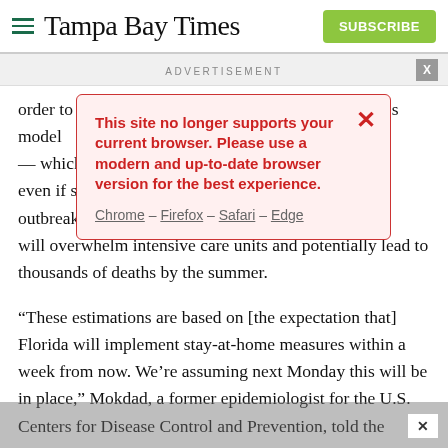Tampa Bay Times | SUBSCRIBE
ADVERTISEMENT
[Figure (screenshot): Browser compatibility warning popup with red border on pink background. Text: 'This site no longer supports your current browser. Please use a modern and up-to-date browser version for the best experience.' Links: Chrome – Firefox – Safari – Edge]
order to … s model — which … s that even if s… s outbreaks… that will overwhelm intensive care units and potentially lead to thousands of deaths by the summer.
“These estimations are based on [the expectation that] Florida will implement stay-at-home measures within a week from now. We’re assuming next Monday this will be in place,” Mokdad, a former epidemiologist for the U.S. Centers for Disease Control and Prevention, told the Miami